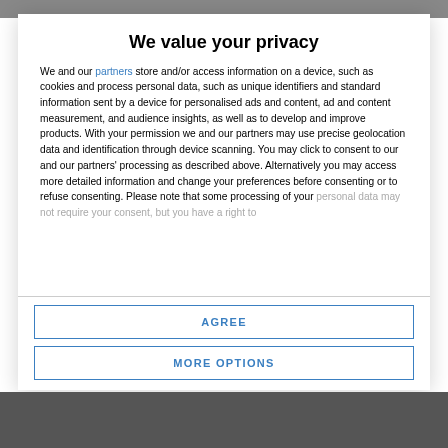[Figure (screenshot): Top browser/app bar background strip]
We value your privacy
We and our partners store and/or access information on a device, such as cookies and process personal data, such as unique identifiers and standard information sent by a device for personalised ads and content, ad and content measurement, and audience insights, as well as to develop and improve products. With your permission we and our partners may use precise geolocation data and identification through device scanning. You may click to consent to our and our partners' processing as described above. Alternatively you may access more detailed information and change your preferences before consenting or to refuse consenting. Please note that some processing of your personal data may not require your consent, but you have a right to
AGREE
MORE OPTIONS
[Figure (photo): Bottom portion showing a photo partially visible]